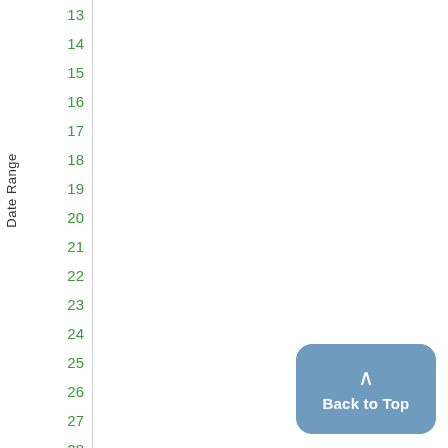| Date Range |  |
| --- | --- |
| 13 |  |
| 14 |  |
| 15 |  |
| 16 |  |
| 17 |  |
| 18 |  |
| 19 |  |
| 20 |  |
| 21 |  |
| 22 |  |
| 23 |  |
| 24 |  |
| 25 |  |
| 26 |  |
| 27 |  |
| 28 |  |
| 29 |  |